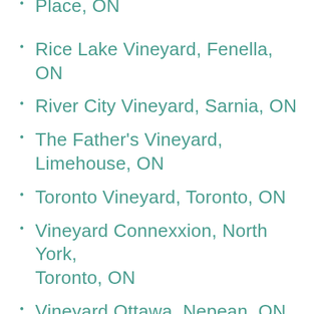Place, ON
Rice Lake Vineyard, Fenella, ON
River City Vineyard, Sarnia, ON
The Father's Vineyard, Limehouse, ON
Toronto Vineyard, Toronto, ON
Vineyard Connexxion, North York, Toronto, ON
Vineyard Ottawa, Nepean, ON
Windsor Vineyard, Windsor, ON